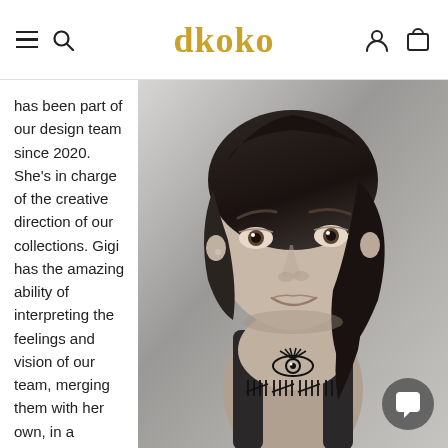dkoko
has been part of our design team since 2020. She's in charge of the creative direction of our collections. Gigi has the amazing ability of interpreting the feelings and vision of our team, merging them with her own, in a magical
[Figure (photo): Black and white portrait photo of a young woman with medium-length dark hair, smiling slightly, wearing overalls, with tattoos visible on her chest including an eye symbol and tally marks.]